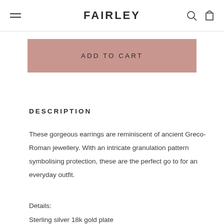FAIRLEY
[Figure (other): ADD TO CART button in dusty rose/mauve pink color]
DESCRIPTION
These gorgeous earrings are reminiscent of ancient Greco-Roman jewellery. With an intricate granulation pattern symbolising protection, these are the perfect go to for an everyday outfit.
Details:
Sterling silver 18k gold plate